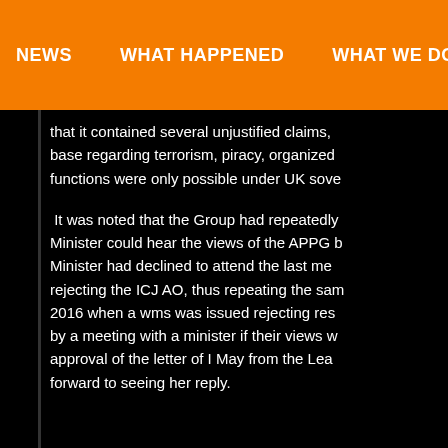NEWS   WHAT HAPPENED   WHAT WE DO   DO...
that it contained several unjustified claims, base regarding terrorism, piracy, organized functions were only possible under UK sove...
It was noted that the Group had repeatedly Minister could hear the views of the APPG b Minister had declined to attend the last me rejecting the ICJ AO, thus repeating the sam 2016 when a wms was issued rejecting res by a meeting with a minister if their views w approval of the letter of I May from the Lea forward to seeing her reply.